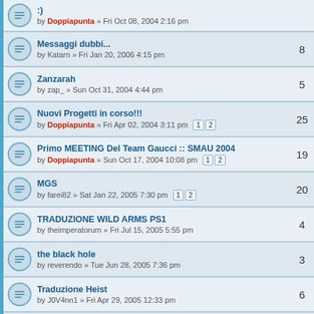;) by Doppiapunta » Fri Oct 08, 2004 2:16 pm
Messaggi dubbi... by Katarn » Fri Jan 20, 2006 4:15 pm | replies: 8
Zanzarah by zap_ » Sun Oct 31, 2004 4:44 pm | replies: 5
Nuovi Progetti in corso!!! by Doppiapunta » Fri Apr 02, 2004 3:11 pm | pages: 1,2 | replies: 25
Primo MEETING Del Team Gaucci :: SMAU 2004 by Doppiapunta » Sun Oct 17, 2004 10:08 pm | pages: 1,2 | replies: 19
MGS by farei82 » Sat Jan 22, 2005 7:30 pm | pages: 1,2 | replies: 20
TRADUZIONE WILD ARMS PS1 by theimperatorum » Fri Jul 15, 2005 5:55 pm | replies: 4
the black hole by reverendo » Tue Jun 28, 2005 7:36 pm | replies: 3
Traduzione Heist by J0V4nn1 » Fri Apr 29, 2005 12:33 pm | replies: 6
Volevo salutare by Dewos » Tue Dec 14, 2004 12:10 pm | replies: 1
Znzarah status? by The Golden Carrot » Mon Dec 06, 2004 6:42 am | replies: 1
Un appello disperato